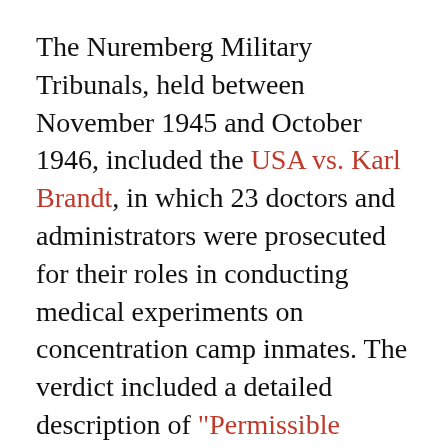The Nuremberg Military Tribunals, held between November 1945 and October 1946, included the USA vs. Karl Brandt, in which 23 doctors and administrators were prosecuted for their roles in conducting medical experiments on concentration camp inmates. The verdict included a detailed description of "Permissible Medical Experiments". These 10 points became known as the Nuremberg Code.
The first point specifically upholds the principle of voluntary consent